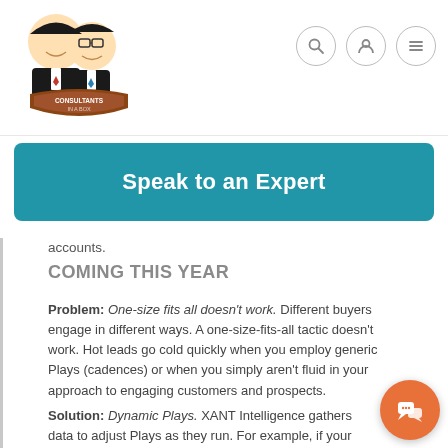Consultants In A Box - website header with logo and navigation icons
[Figure (logo): Consultants In A Box logo: two cartoon characters (one with glasses) above a brown shield badge with text CONSULTANTS IN A BOX]
[Figure (other): Navigation icons: search (magnifying glass), user/account, and hamburger menu, each in a circular border]
Speak to an Expert
accounts.
COMING THIS YEAR
Problem: One-size fits all doesn't work. Different buyers engage in different ways. A one-size-fits-all tactic doesn't work. Hot leads go cold quickly when you employ generic Plays (cadences) or when you simply aren't fluid in your approach to engaging customers and prospects.
Solution: Dynamic Plays. XANT Intelligence gathers data to adjust Plays as they run. For example, if your contact is prone to respond to emails, even if you've never emailed them, a Dynamic Play will automatically adjust to focus on